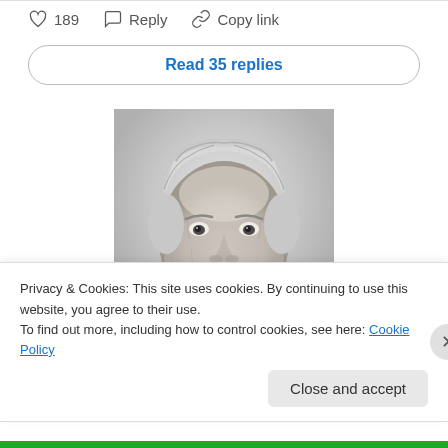189  Reply  Copy link
Read 35 replies
[Figure (photo): Black and white headshot photo of an older man with white/gray hair, smiling broadly, looking slightly upward toward the viewer.]
Privacy & Cookies: This site uses cookies. By continuing to use this website, you agree to their use.
To find out more, including how to control cookies, see here: Cookie Policy
Close and accept